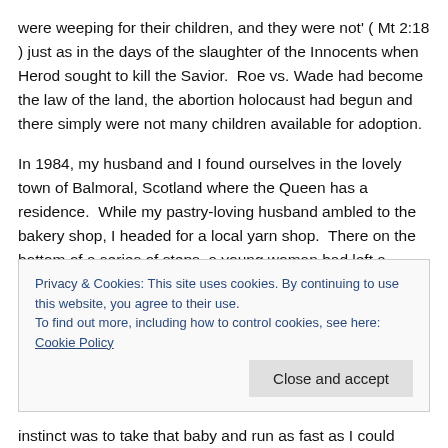were weeping for their children, and they will not' ( Mt 2:18 ) just as in the days of the slaughter of the Innocents when Herod sought to kill the Savior. Roe vs. Wade had become the law of the land, the abortion holocaust had begun and there simply were not many children available for adoption.
In 1984, my husband and I found ourselves in the lovely town of Balmoral, Scotland where the Queen has a residence. While my pastry-loving husband ambled to the bakery shop, I headed for a local yarn shop. There on the bottom of a series of steps, a young woman had left a
Privacy & Cookies: This site uses cookies. By continuing to use this website, you agree to their use.
To find out more, including how to control cookies, see here: Cookie Policy
instinct was to take that baby and run as fast as I could